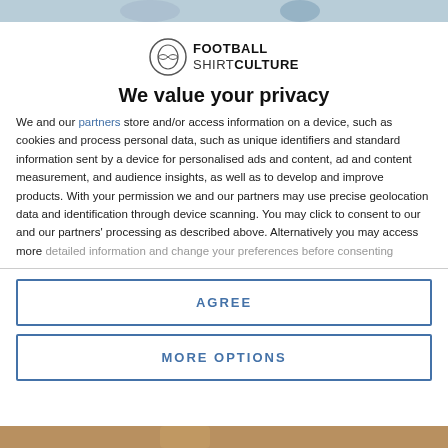[Figure (logo): Football Shirt Culture logo with circular shirt icon and bold text]
We value your privacy
We and our partners store and/or access information on a device, such as cookies and process personal data, such as unique identifiers and standard information sent by a device for personalised ads and content, ad and content measurement, and audience insights, as well as to develop and improve products. With your permission we and our partners may use precise geolocation data and identification through device scanning. You may click to consent to our and our partners' processing as described above. Alternatively you may access more detailed information and change your preferences before consenting
AGREE
MORE OPTIONS